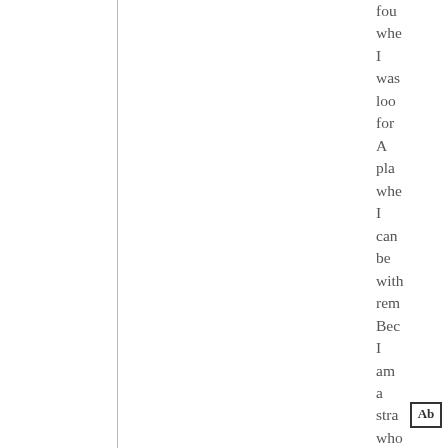found when I was looking for A place where I can be with rem Because I am a stranger who has found An ever stranger wanting
[Figure (other): Small text icon box showing 'Ab' with a decorative border, partially visible at bottom right]